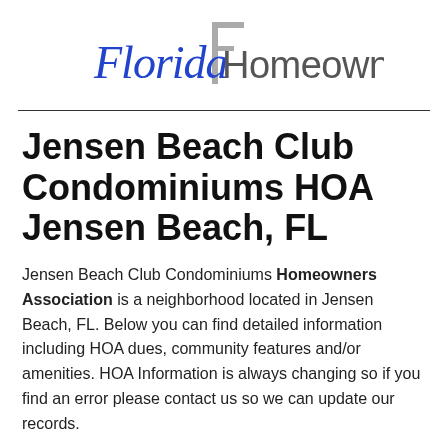[Figure (logo): Florida Homeowners logo with stylized cursive text in blue and gray block letter F]
Jensen Beach Club Condominiums HOA Jensen Beach, FL
Jensen Beach Club Condominiums Homeowners Association is a neighborhood located in Jensen Beach, FL. Below you can find detailed information including HOA dues, community features and/or amenities. HOA Information is always changing so if you find an error please contact us so we can update our records.
Jensen Beach Club Condominiums